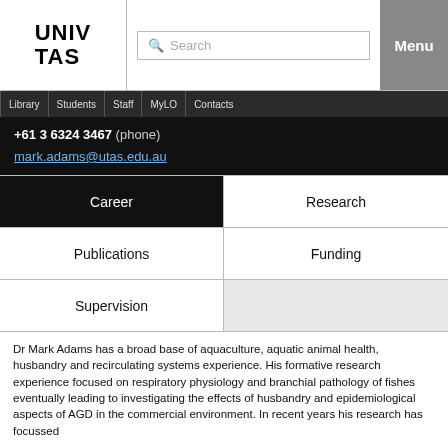[Figure (screenshot): University of Tasmania (UNIV TAS) logo in top left header]
UNIV TAS | Search | Menu
Library | Students | Staff | MyLO | Contacts
+61 3 6324 3467 (phone)
mark.adams@utas.edu.au
| Career | Research |
| --- | --- |
| Publications | Funding |
| Supervision |  |
Dr Mark Adams has a broad base of aquaculture, aquatic animal health, husbandry and recirculating systems experience. His formative research experience focused on respiratory physiology and branchial pathology of fishes eventually leading to investigating the effects of husbandry and epidemiological aspects of AGD in the commercial environment. In recent years his research has focussed